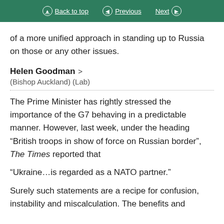Back to top | Previous | Next
of a more unified approach in standing up to Russia on those or any other issues.
Helen Goodman
(Bishop Auckland) (Lab)
The Prime Minister has rightly stressed the importance of the G7 behaving in a predictable manner. However, last week, under the heading “British troops in show of force on Russian border”, The Times reported that
“Ukraine…is regarded as a NATO partner.”
Surely such statements are a recipe for confusion, instability and miscalculation. The benefits and